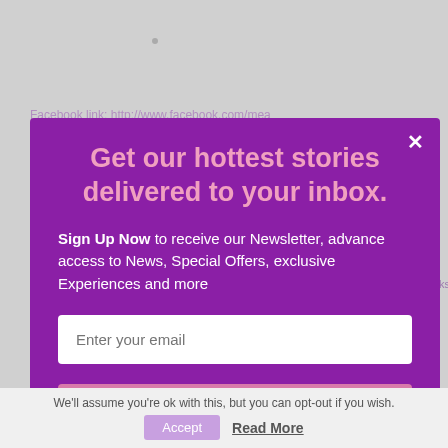[Figure (screenshot): Background page content with purple links to Facebook and Instagram, partially obscured by modal overlay]
Get our hottest stories delivered to your inbox.
Sign Up Now to receive our Newsletter, advance access to News, Special Offers, exclusive Experiences and more
Enter your email
Submit
powered by MailMunch
We'll assume you're ok with this, but you can opt-out if you wish.
Accept
Read More